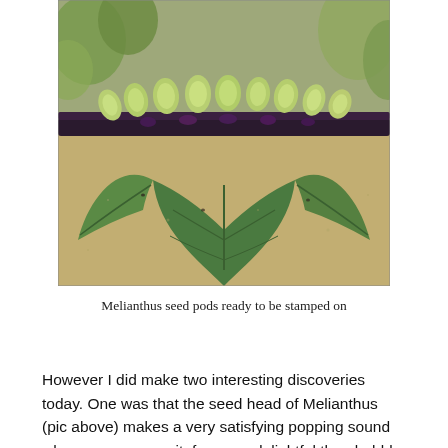[Figure (photo): Close-up photograph of Melianthus seed pods lying on sandy ground, showing green papery seed pods along a dark stem with serrated green leaves below.]
Melianthus seed pods ready to be stamped on
However I did make two interesting discoveries today. One was that the seed head of Melianthus (pic above) makes a very satisfying popping sound when you squeeze it, far more delightful than bubble wrap. I showed some to Dan